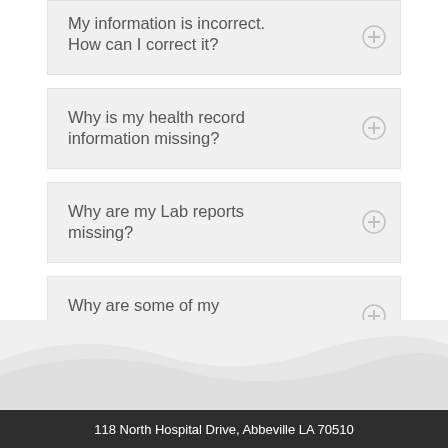My information is incorrect. How can I correct it?
Why is my health record information missing?
Why are my Lab reports missing?
Why are some of my documents missing?
118 North Hospital Drive, Abbeville LA 70510